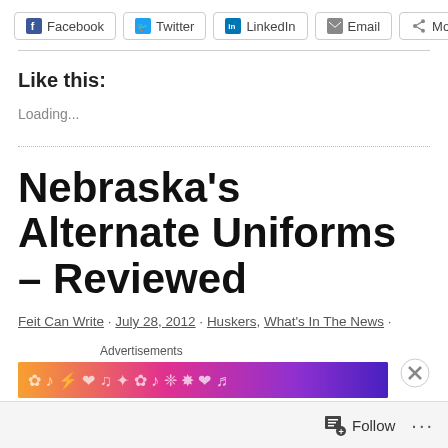Facebook  Twitter  LinkedIn  Email  More
Like this:
Loading...
Nebraska's Alternate Uniforms – Reviewed
Feit Can Write · July 28, 2012 · Huskers, What's In The News · Adidas, Big Ten, College Football, Huskers, Nebraska, TechFit, Uniforms · 15 Comments
Advertisements
[Figure (illustration): Colorful advertisement banner with gradient from orange to purple with decorative icons]
Follow  ···